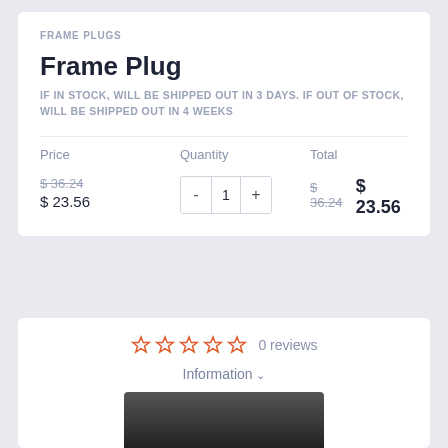FRAME PLUGS
Frame Plug
IF IN STOCK, WILL BE SHIPPED OUT IN 3 DAYS. IF OUT OF STOCK, WILL BE SHIPPED OUT IN 4 WEEKS
| Price | Quantity | Total |
| --- | --- | --- |
| $ 36.24 (strikethrough)
$ 23.56 | - 1 + | $ 36.24 (strikethrough) $ 23.56 |
☆☆☆☆☆  0 reviews
Information ∨
ADD TO CART